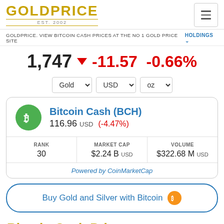GOLDPRICE EST. 2002
GOLDPRICE. VIEW BITCOIN CASH PRICES AT THE NO 1 GOLD PRICE SITE
1,747 ▼ -11.57 -0.66%
| RANK | MARKET CAP | VOLUME |
| --- | --- | --- |
| 30 | $2.24 B USD | $322.68 M USD |
Bitcoin Cash (BCH) 116.96 USD (-4.47%)
Powered by CoinMarketCap
Buy Gold and Silver with Bitcoin
Bitcoin Cash Price